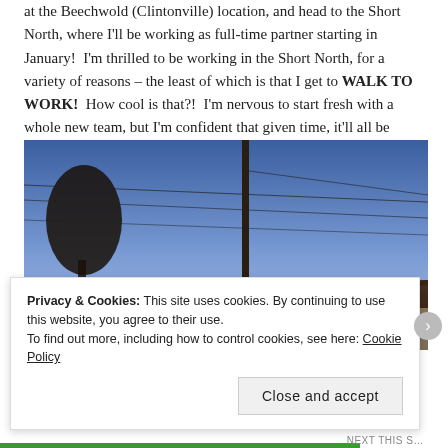at the Beechwold (Clintonville) location, and head to the Short North, where I'll be working as full-time partner starting in January!  I'm thrilled to be working in the Short North, for a variety of reasons – the least of which is that I get to WALK TO WORK!  How cool is that?!  I'm nervous to start fresh with a whole new team, but I'm confident that given time, it'll all be good.
[Figure (photo): Exterior night photo of a modern commercial building with warm lights along the facade, a utility pole with wires in the foreground, and a blue-purple dusk sky in the background.]
Privacy & Cookies: This site uses cookies. By continuing to use this website, you agree to their use.
To find out more, including how to control cookies, see here: Cookie Policy
Close and accept